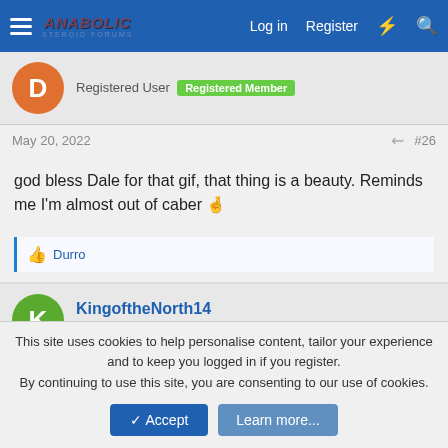Anabolic Steroid Forums — Log in | Register
Registered User  Registered Member
May 20, 2022  #26
god bless Dale for that gif, that thing is a beauty. Reminds me I'm almost out of caber 🤞
👍 Durro
KingoftheNorth14  Registered Member
May 20, 2022  #27
This site uses cookies to help personalise content, tailor your experience and to keep you logged in if you register.
By continuing to use this site, you are consenting to our use of cookies.